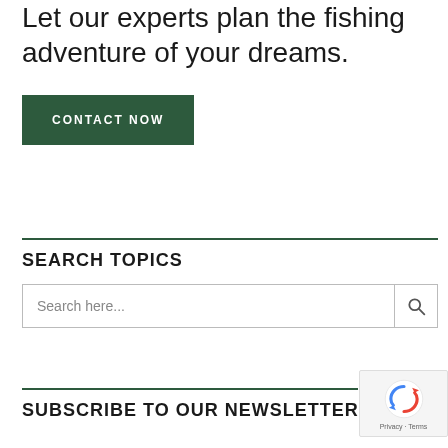Let our experts plan the fishing adventure of your dreams.
[Figure (other): Dark green button with text 'CONTACT NOW' in white uppercase letters]
SEARCH TOPICS
[Figure (other): Search input box with placeholder 'Search here...' and a magnifying glass icon button]
SUBSCRIBE TO OUR NEWSLETTER
[Figure (other): reCAPTCHA badge with Google logo and 'Privacy - Terms' text]